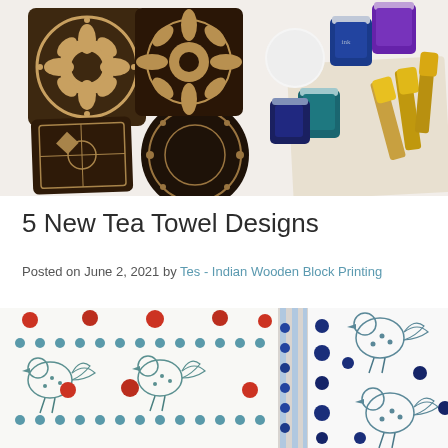[Figure (photo): Flat lay photograph of Indian wooden block printing stamps (dark brown carved blocks with intricate floral and geometric patterns), several small jars of ink in blue, teal, and purple, a white circular disc, yellow foam brushes, and a natural canvas bag on a white background.]
5 New Tea Towel Designs
Posted on June 2, 2021 by Tes - Indian Wooden Block Printing
[Figure (photo): Two tea towels with Indian block printed designs featuring chickens/hens and circular dot patterns. Left towel has red and teal/blue dots with teal hens on white fabric. Right towel has dark blue dots with teal hens on white fabric with a striped blue border.]